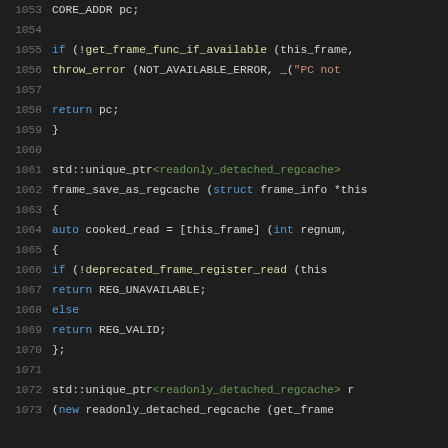[Figure (screenshot): Source code listing in a dark-themed code editor showing C++ code lines 1053-1073 with syntax highlighting. Keywords in blue, template arguments in teal/green, strings in orange, line numbers in gray.]